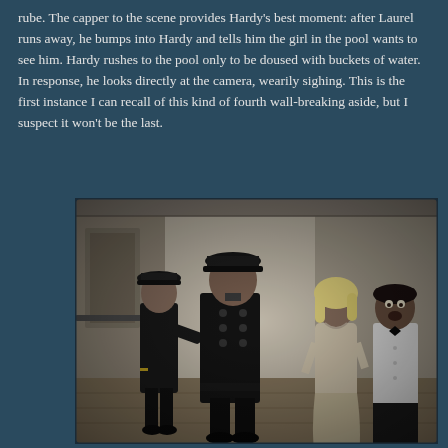rube. The capper to the scene provides Hardy's best moment: after Laurel runs away, he bumps into Hardy and tells him the girl in the pool wants to see him. Hardy rushes to the pool only to be doused with buckets of water. In response, he looks directly at the camera, wearily sighing. This is the first instance I can recall of this kind of fourth wall-breaking aside, but I suspect it won't be the last.
[Figure (photo): Black and white still photograph from a classic film, showing four people standing in a ship corridor or hallway. On the far left is a man in a naval/officer uniform with a cap. In the center is a large man in a dark officer uniform with double-breasted buttons and a cap. To his right is a blonde woman in a light-colored dress. On the far right is a man in a white formal shirt and dark trousers with a bow tie.]